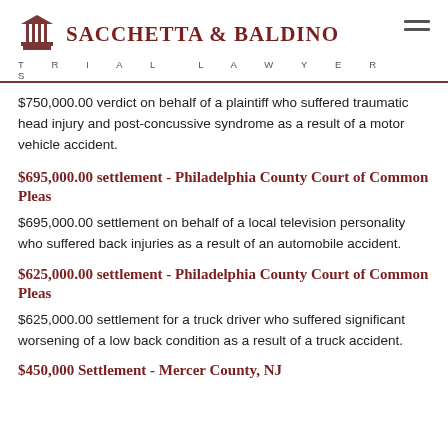SACCHETTA & BALDINO TRIAL LAWYERS
$750,000.00 verdict on behalf of a plaintiff who suffered traumatic head injury and post-concussive syndrome as a result of a motor vehicle accident.
$695,000.00 settlement - Philadelphia County Court of Common Pleas
$695,000.00 settlement on behalf of a local television personality who suffered back injuries as a result of an automobile accident.
$625,000.00 settlement - Philadelphia County Court of Common Pleas
$625,000.00 settlement for a truck driver who suffered significant worsening of a low back condition as a result of a truck accident.
$450,000 Settlement - Mercer County, NJ